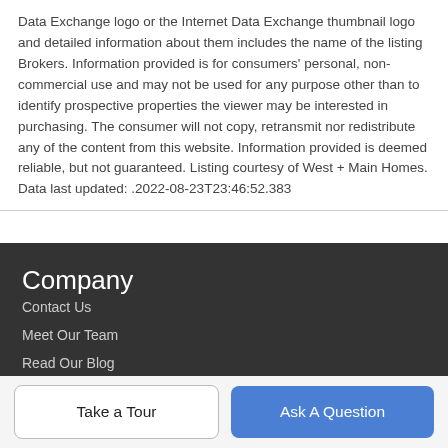Data Exchange logo or the Internet Data Exchange thumbnail logo and detailed information about them includes the name of the listing Brokers. Information provided is for consumers' personal, non-commercial use and may not be used for any purpose other than to identify prospective properties the viewer may be interested in purchasing. The consumer will not copy, retransmit nor redistribute any of the content from this website. Information provided is deemed reliable, but not guaranteed. Listing courtesy of West + Main Homes. Data last updated: .2022-08-23T23:46:52.383
Company
Contact Us
Meet Our Team
Read Our Blog
Take a Tour
Ask A Question